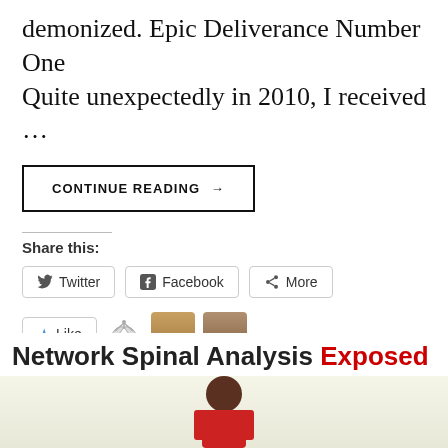demonized. Epic Deliverance Number One Quite unexpectedly in 2010, I received …
CONTINUE READING →
Share this:
Twitter   Facebook   More
3 bloggers like this.
Network Spinal Analysis Exposed
[Figure (photo): Photo of a person sitting at a table, bottom portion of page]